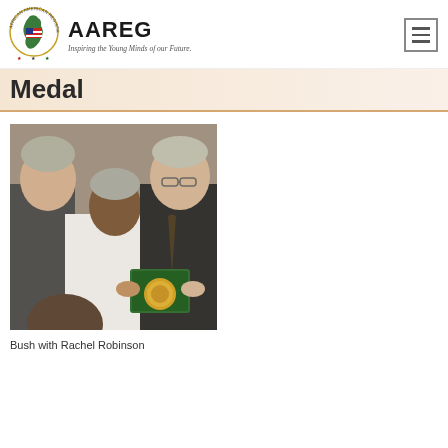[Figure (logo): African American Registry (AAREG) logo with Africa continent graphic and tagline 'Inspiring the Young Minds of our Future.']
Medal
[Figure (photo): Photo of George W. Bush with Rachel Robinson and another man, holding a gold medal in a green presentation box.]
Bush with Rachel Robinson